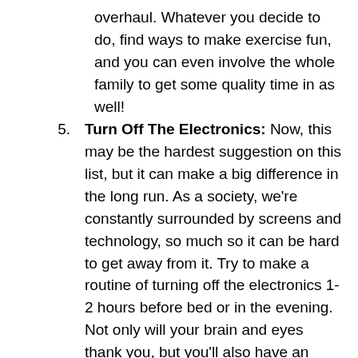overhaul. Whatever you decide to do, find ways to make exercise fun, and you can even involve the whole family to get some quality time in as well!
5. Turn Off The Electronics: Now, this may be the hardest suggestion on this list, but it can make a big difference in the long run. As a society, we're constantly surrounded by screens and technology, so much so it can be hard to get away from it. Try to make a routine of turning off the electronics 1-2 hours before bed or in the evening. Not only will your brain and eyes thank you, but you'll also have an easier time winding down and relaxing as you end your evening. To get everyone involved, make it a family-wide rule and spend the time together reading, talking about your day, or simply spending time doing something you love